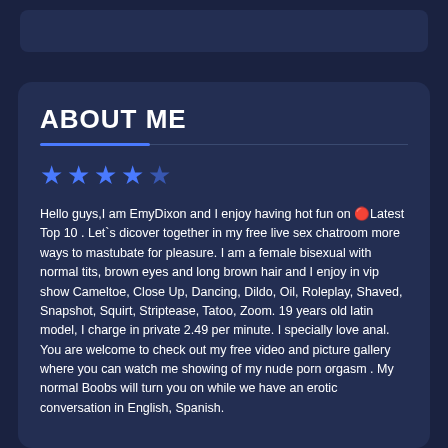ABOUT ME
Hello guys,I am EmyDixon and I enjoy having hot fun on 🔴Latest Top 10 . Let`s dicover together in my free live sex chatroom more ways to mastubate for pleasure. I am a female bisexual with normal tits, brown eyes and long brown hair and I enjoy in vip show Cameltoe, Close Up, Dancing, Dildo, Oil, Roleplay, Shaved, Snapshot, Squirt, Striptease, Tatoo, Zoom. 19 years old latin model, I charge in private 2.49 per minute. I specially love anal. You are welcome to check out my free video and picture gallery where you can watch me showing of my nude porn orgasm . My normal Boobs will turn you on while we have an erotic conversation in English, Spanish.